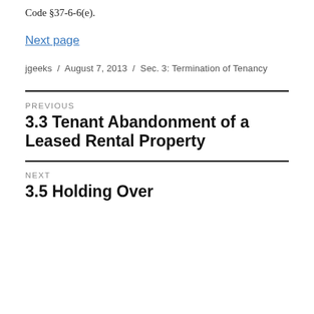Code §37-6-6(e).
Next page
jgeeks / August 7, 2013 / Sec. 3: Termination of Tenancy
PREVIOUS
3.3 Tenant Abandonment of a Leased Rental Property
NEXT
3.5 Holding Over